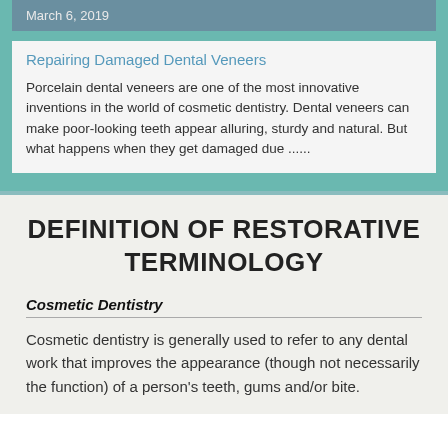March 6, 2019
Repairing Damaged Dental Veneers
Porcelain dental veneers are one of the most innovative inventions in the world of cosmetic dentistry. Dental veneers can make poor-looking teeth appear alluring, sturdy and natural. But what happens when they get damaged due ......
DEFINITION OF RESTORATIVE TERMINOLOGY
Cosmetic Dentistry
Cosmetic dentistry is generally used to refer to any dental work that improves the appearance (though not necessarily the function) of a person's teeth, gums and/or bite.